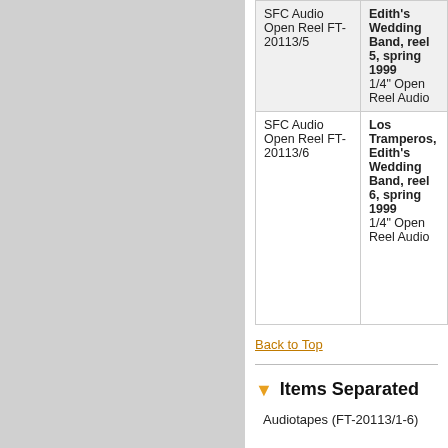|  |  |
| --- | --- |
| SFC Audio Open Reel FT-20113/5 | Edith's Wedding Band, reel 5, spring 1999
1/4" Open Reel Audio |
| SFC Audio Open Reel FT-20113/6 | Los Tramperos, Edith's Wedding Band, reel 6, spring 1999
1/4" Open Reel Audio |
Back to Top
Items Separated
Audiotapes (FT-20113/1-6)